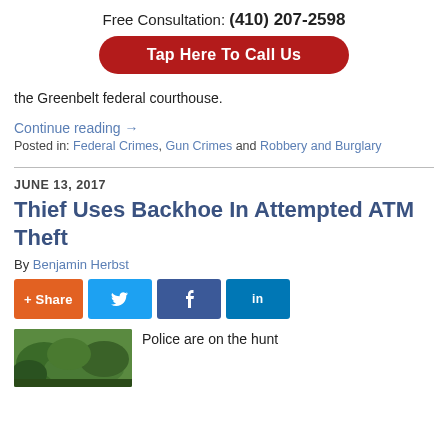Free Consultation: (410) 207-2598
Tap Here To Call Us
the Greenbelt federal courthouse.
Continue reading →
Posted in: Federal Crimes, Gun Crimes and Robbery and Burglary
JUNE 13, 2017
Thief Uses Backhoe In Attempted ATM Theft
By Benjamin Herbst
[Figure (other): Social share buttons: + Share, Twitter, Facebook, LinkedIn]
[Figure (photo): Outdoor photo with trees/greenery]
Police are on the hunt